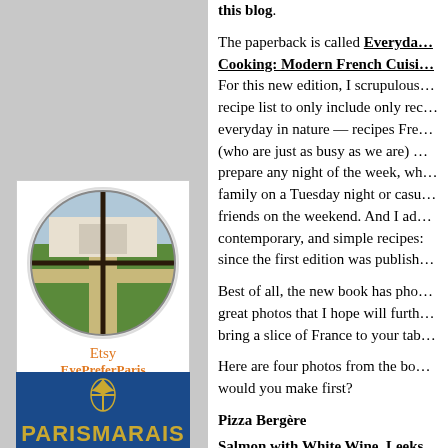this blog.
The paperback is called Everyday Cooking: Modern French Cuisi… For this new edition, I scrupulously pared the recipe list to only include only recipes that are everyday in nature — recipes French (who are just as busy as we are) could prepare any night of the week, whether for family on a Tuesday night or casual friends on the weekend. And I added contemporary, and simple recipes since the first edition was published.
[Figure (photo): Circular window view of a formal French garden, shown in quadrants within a round frame. Etsy EyePreferParis link below.]
Etsy
EyePreferParis
[Figure (logo): ParisMARAS book promotional blue box with gold fleur-de-lis and text PARISMARAIS BOOK LE MARAIS]
Best of all, the new book has photos, great photos that I hope will further bring a slice of France to your tab…
Here are four photos from the bo… would you make first?
Pizza Bergère
Salmon with White Wine, Leeks…
Pork Chops with Mustard, Caro…